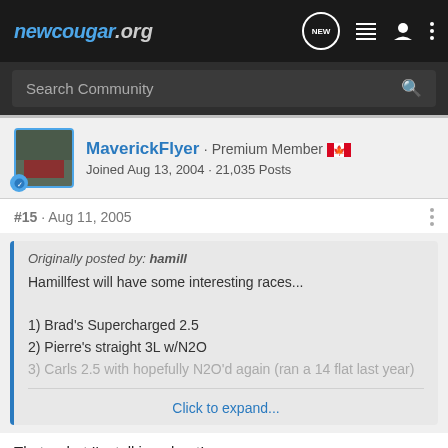newcougar.org
Search Community
MaverickFlyer · Premium Member 🇨🇦
Joined Aug 13, 2004 · 21,035 Posts
#15 · Aug 11, 2005
Originally posted by: hamill
Hamillfest will have some interesting races...

1) Brad's Supercharged 2.5
2) Pierre's straight 3L w/N2O
3) Carls 2.5 with hopefully N2O'd again (ran a 14 flat last year)

Click to expand...
Thats what I'm talking about!